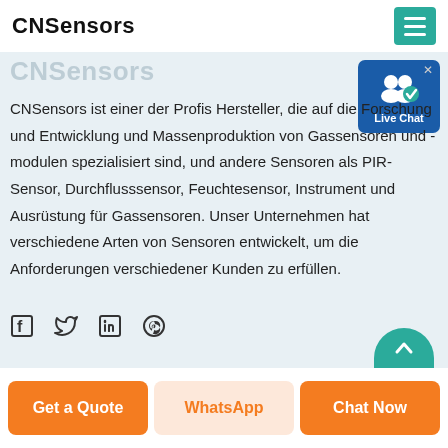CNSensors
CNSensors ist einer der Profis Hersteller, die auf die Forschung und Entwicklung und Massenproduktion von Gassensoren und -modulen spezialisiert sind, und andere Sensoren als PIR-Sensor, Durchflusssensor, Feuchtesensor, Instrument und Ausrüstung für Gassensoren. Unser Unternehmen hat verschiedene Arten von Sensoren entwickelt, um die Anforderungen verschiedener Kunden zu erfüllen.
[Figure (logo): Live Chat widget with user icon and blue background]
[Figure (infographic): Social media icons: Facebook, Twitter, LinkedIn, Pinterest]
[Figure (other): Teal circular scroll-to-top button]
Get a Quote | WhatsApp | Chat Now